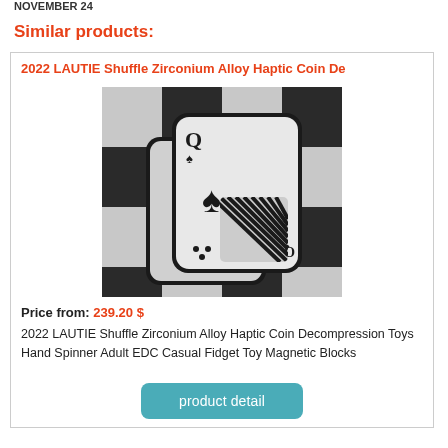NOVEMBER 24
Similar products:
2022 LAUTIE Shuffle Zirconium Alloy Haptic Coin De
[Figure (photo): Photo of metal playing card-shaped haptic coin fidget toys (queen of spades design) on a black and white checkered background]
Price from: 239.20 $
2022 LAUTIE Shuffle Zirconium Alloy Haptic Coin Decompression Toys Hand Spinner Adult EDC Casual Fidget Toy Magnetic Blocks
product detail